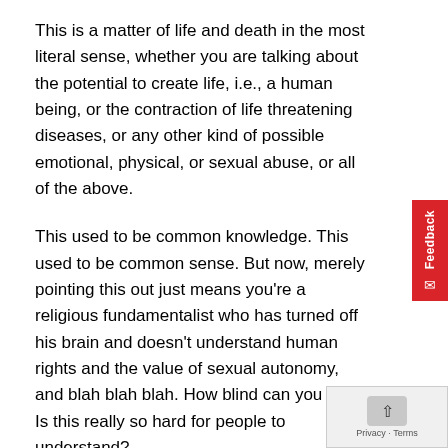This is a matter of life and death in the most literal sense, whether you are talking about the potential to create life, i.e., a human being, or the contraction of life threatening diseases, or any other kind of possible emotional, physical, or sexual abuse, or all of the above.
This used to be common knowledge. This used to be common sense. But now, merely pointing this out just means you're a religious fundamentalist who has turned off his brain and doesn't understand human rights and the value of sexual autonomy, and blah blah blah. How blind can you be? Is this really so hard for people to understand?
As Muslims, yes, we abide by Islamic law when it comes to pre-marital abstinence and marriage, etc., first and foremost because we hear and obey our Creator. No doubt about when we recognize the clear benefit and wisdom in His...